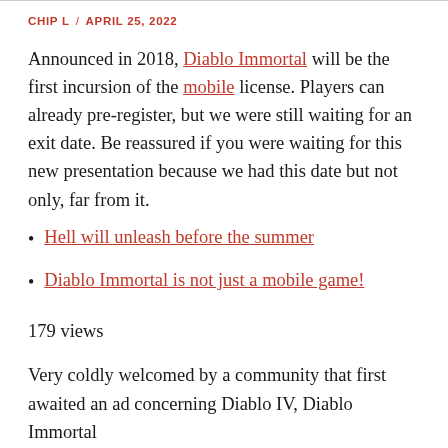CHIP L / APRIL 25, 2022
Announced in 2018, Diablo Immortal will be the first incursion of the mobile license. Players can already pre-register, but we were still waiting for an exit date. Be reassured if you were waiting for this new presentation because we had this date but not only, far from it.
Hell will unleash before the summer
Diablo Immortal is not just a mobile game!
179 views
Very coldly welcomed by a community that first awaited an ad concerning Diablo IV, Diablo Immortal